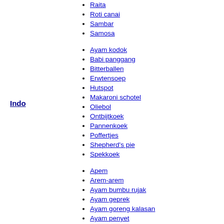Raita
Roti canai
Sambar
Samosa
Ayam kodok
Babi panggang
Bitterballen
Erwtensoep
Hutspot
Makaroni schotel
Oliebol
Ontbijtkoek
Pannenkoek
Poffertjes
Shepherd's pie
Spekkoek
Apem
Arem-arem
Ayam bumbu rujak
Ayam geprek
Ayam goreng kalasan
Ayam penyet
Bakso
Bakpia